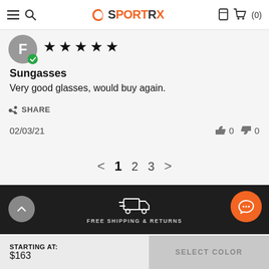SportRx (0)
[Figure (screenshot): Star rating: 5 stars]
Sungasses
Very good glasses, would buy again.
SHARE
02/03/21   👍 0  👎 0
< 1 2 3 >
FREE SHIPPING & RETURNS
STARTING AT:
$163
SELECT COLOR